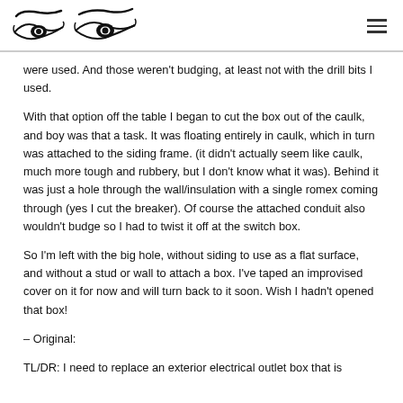[Logo with eye illustrations] [hamburger menu]
were used. And those weren't budging, at least not with the drill bits I used.
With that option off the table I began to cut the box out of the caulk, and boy was that a task. It was floating entirely in caulk, which in turn was attached to the siding frame. (it didn't actually seem like caulk, much more tough and rubbery, but I don't know what it was). Behind it was just a hole through the wall/insulation with a single romex coming through (yes I cut the breaker). Of course the attached conduit also wouldn't budge so I had to twist it off at the switch box.
So I'm left with the big hole, without siding to use as a flat surface, and without a stud or wall to attach a box. I've taped an improvised cover on it for now and will turn back to it soon. Wish I hadn't opened that box!
– Original:
TL/DR: I need to replace an exterior electrical outlet box that is